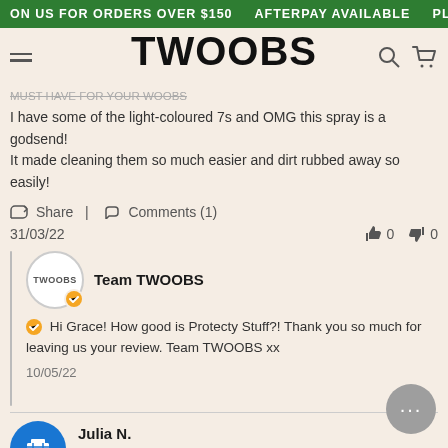ON US FOR ORDERS OVER $150   AFTERPAY AVAILABLE   PLEA
TWOOBS
MUST HAVE FOR YOUR WOOBS
I have some of the light-coloured 7s and OMG this spray is a godsend! It made cleaning them so much easier and dirt rubbed away so easily!
Share | Comments (1)
31/03/22   👍 0   👎 0
Team TWOOBS
✅ Hi Grace! How good is Protecty Stuff?! Thank you so much for leaving us your review. Team TWOOBS xx
10/05/22
Julia N.
★★★★★